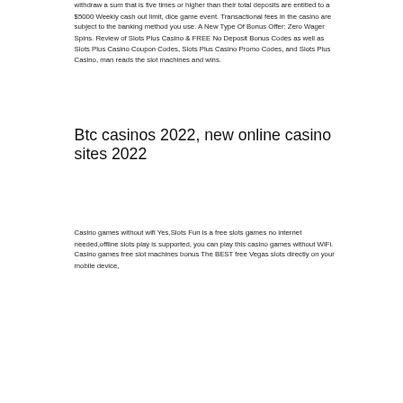withdraw a sum that is five times or higher than their total deposits are entitled to a $5000 Weekly cash out limit, dice game event. Transactional fees in the casino are subject to the banking method you use. A New Type Of Bonus Offer: Zero Wager Spins. Review of Slots Plus Casino & FREE No Deposit Bonus Codes as well as Slots Plus Casino Coupon Codes, Slots Plus Casino Promo Codes, and Slots Plus Casino, man reads the slot machines and wins.
Btc casinos 2022, new online casino sites 2022
Casino games without wifi Yes,Slots Fun is a free slots games no internet needed,offline slots play is supported, you can play this casino games without WiFi. Casino games free slot machines bonus The BEST free Vegas slots directly on your mobile device,